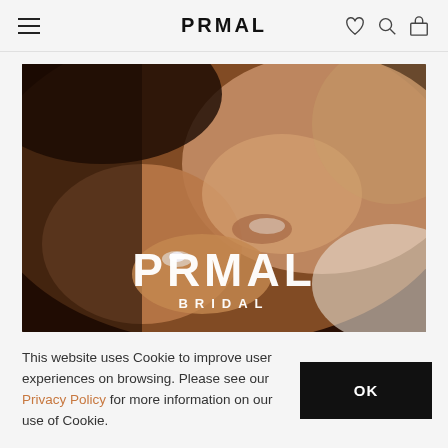PRMAL
[Figure (photo): Close-up photo of a smiling woman wearing a diamond engagement ring, with 'PRMAL BRIDAL' text overlaid at the bottom of the image.]
This website uses Cookie to improve user experiences on browsing. Please see our Privacy Policy for more information on our use of Cookie.